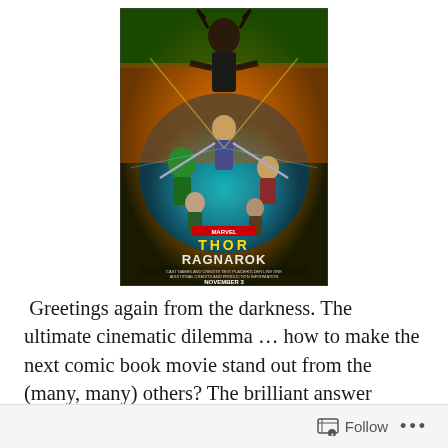[Figure (illustration): Thor: Ragnarok movie poster featuring characters including Thor, Hela, Hulk, and others with colorful cosmic background. Text reads THOR RAGNAROK, NOVEMBER 3.]
Greetings again from the darkness. The ultimate cinematic dilemma … how to make the next comic book movie stand out from the (many, many) others? The brilliant answer comes from director Taika Waititi and co-writers Eric Pearson, Craig Kyle and Christopher Yost –
Follow ···